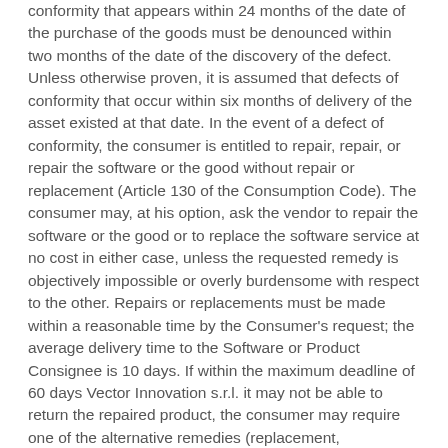conformity that appears within 24 months of the date of the purchase of the goods must be denounced within two months of the date of the discovery of the defect. Unless otherwise proven, it is assumed that defects of conformity that occur within six months of delivery of the asset existed at that date. In the event of a defect of conformity, the consumer is entitled to repair, repair, or repair the software or the good without repair or replacement (Article 130 of the Consumption Code). The consumer may, at his option, ask the vendor to repair the software or the good or to replace the software service at no cost in either case, unless the requested remedy is objectively impossible or overly burdensome with respect to the other. Repairs or replacements must be made within a reasonable time by the Consumer's request; the average delivery time to the Software or Product Consignee is 10 days. If within the maximum deadline of 60 days Vector Innovation s.r.l. it may not be able to return the repaired product, the consumer may require one of the alternative remedies (replacement, termination of the contract, price reduction). Vector Innovation s.r.l. it will repair the software or malfunctioning service, or the product for any repairs at the Technical Support Center authorized by the Manufacturer. MANNER ADDITIONAL CONVENTIONAL WARRANTY All software services and products sold on the Innovation s.r.l. site besides being covered by the Legal Warranty are covered by the Manufacturer Warranty. The Warranty of the